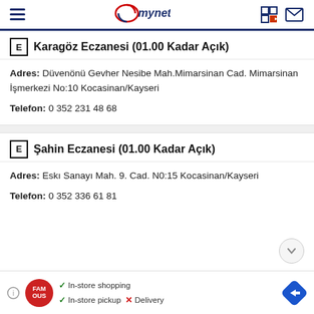mynet
E Karagöz Eczanesi (01.00 Kadar Açık)
Adres: Düvenönü Gevher Nesibe Mah.Mimarsinan Cad. Mimarsinan İşmerkezi No:10 Kocasinan/Kayseri
Telefon: 0 352 231 48 68
E Şahin Eczanesi (01.00 Kadar Açık)
Adres: Eskı Sanayı Mah. 9. Cad. N0:15 Kocasinan/Kayseri
Telefon: 0 352 336 61 81
[Figure (infographic): Advertisement banner: FAMOUS logo with checkmarks for In-store shopping and In-store pickup, X for Delivery, and a blue diamond direction icon.]